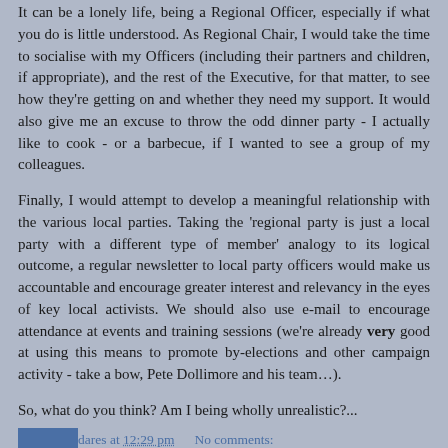It can be a lonely life, being a Regional Officer, especially if what you do is little understood. As Regional Chair, I would take the time to socialise with my Officers (including their partners and children, if appropriate), and the rest of the Executive, for that matter, to see how they're getting on and whether they need my support. It would also give me an excuse to throw the odd dinner party - I actually like to cook - or a barbecue, if I wanted to see a group of my colleagues.
Finally, I would attempt to develop a meaningful relationship with the various local parties. Taking the 'regional party is just a local party with a different type of member' analogy to its logical outcome, a regular newsletter to local party officers would make us accountable and encourage greater interest and relevancy in the eyes of key local activists. We should also use e-mail to encourage attendance at events and training sessions (we're already very good at using this means to promote by-elections and other campaign activity - take a bow, Pete Dollimore and his team…).
So, what do you think? Am I being wholly unrealistic?...
Mark Valladares at 12:29 pm   No comments: